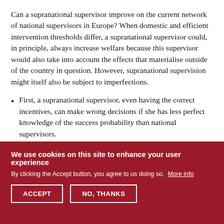Can a supranational supervisor improve on the current network of national supervisors in Europe? When domestic and efficient intervention thresholds differ, a supranational supervisor could, in principle, always increase welfare because this supervisor would also take into account the effects that materialise outside of the country in question. However, supranational supervision might itself also be subject to imperfections.
First, a supranational supervisor, even having the correct incentives, can make wrong decisions if she has less perfect knowledge of the success probability than national supervisors.
We use cookies on this site to enhance your user experience
By clicking the Accept button, you agree to us doing so. More info